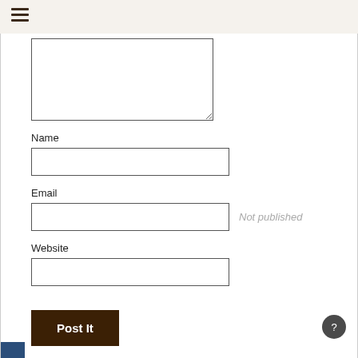☰
[Figure (screenshot): Comment form with textarea, Name field, Email field with 'Not published' placeholder note, Website field, and Post It button]
Name
Email
Not published
Website
Post It
1 Reply     0 Comments     0 Tweets
0 Facebook     1 Pingback